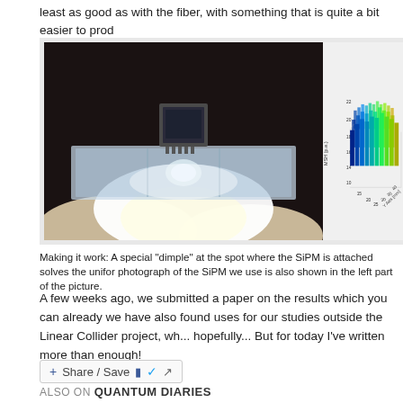least as good as with the fiber, with something that is quite a bit easier to prod...
[Figure (photo): Left: photograph of a clear plastic scintillator bar with a SiPM sensor attached at the top, showing a special dimple depression at the attachment spot. Right: 3D surface plot showing MSH (p.e.) values on Y-axis (10 to 22) versus Y Axis (mm) from 15 to 40+, displayed as a colorful 3D bar/surface chart with blue-to-green color gradient.]
Making it work: A special "dimple" at the spot where the SiPM is attached solves the unifor... photograph of the SiPM we use is also shown in the left part of the picture.
A few weeks ago, we submitted a paper on the results which you can already... we have also found uses for our studies outside the Linear Collider project, wh... hopefully... But for today I've written more than enough!
Share / Save
ALSO ON QUANTUM DIARIES